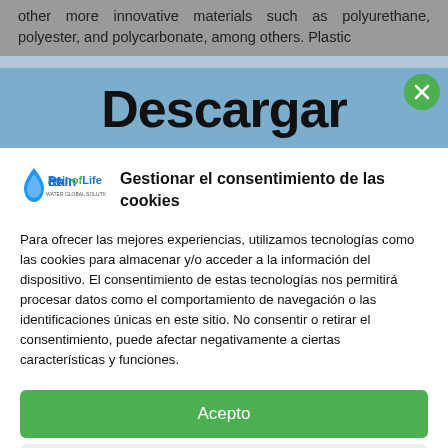other more innovative materials such as polyurethane, polyester, and polycarbonate, among others. Plastic
Descargar
[Figure (logo): Rain of Life Water Global Solutions S.L. company logo with blue water drop icon]
Gestionar el consentimiento de las cookies
Para ofrecer las mejores experiencias, utilizamos tecnologías como las cookies para almacenar y/o acceder a la información del dispositivo. El consentimiento de estas tecnologías nos permitirá procesar datos como el comportamiento de navegación o las identificaciones únicas en este sitio. No consentir o retirar el consentimiento, puede afectar negativamente a ciertas características y funciones.
Acepto
Denegar